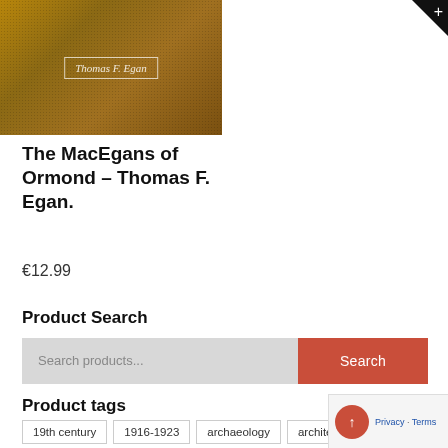[Figure (photo): Book cover image with golden/brown textured background showing 'Thomas F. Egan' label in the center in italic text within a white border rectangle]
The MacEgans of Ormond – Thomas F. Egan.
€12.99
Product Search
Search products...
Product tags
19th century
1916-1923
archaeology
architec
Art
banagher
biography
birr
clara